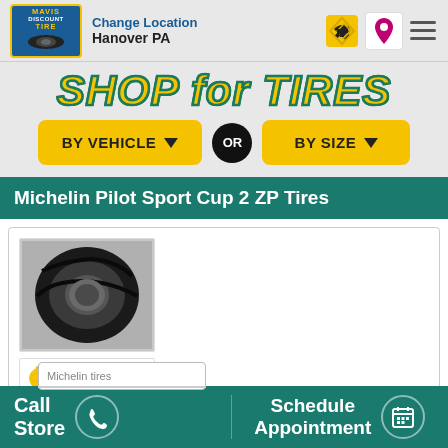Change Location
Hanover PA
SHOP for TIRES
BY VEHICLE ▼   OR   BY SIZE ▼
Michelin Pilot Sport Cup 2 ZP Tires
[Figure (photo): Michelin Pilot Sport Cup 2 ZP tire product image with Michelin brand logo below]
Call Store
Michelin tires
Schedule Appointment